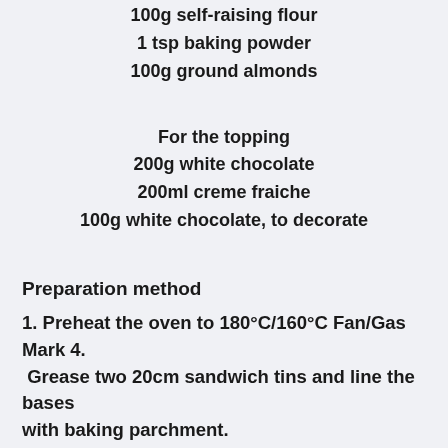100g self-raising flour
1 tsp baking powder
100g ground almonds
For the topping
200g white chocolate
200ml creme fraiche
100g white chocolate, to decorate
Preparation method
1.  Preheat the oven to 180°C/160°C Fan/Gas Mark 4. Grease two 20cm sandwich tins and line the bases with baking parchment.